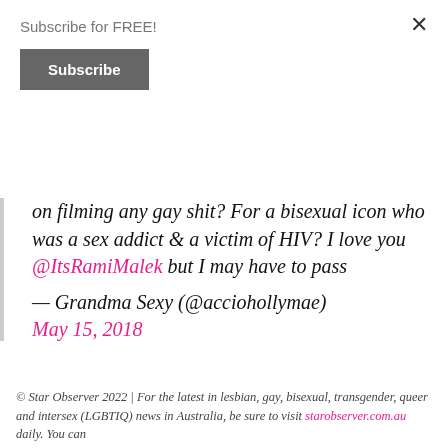Subscribe for FREE!
Subscribe
on filming any gay shit? For a bisexual icon who was a sex addict & a victim of HIV? I love you @ItsRamiMalek but I may have to pass
— Grandma Sexy (@acciohollymae) May 15, 2018
© Star Observer 2022 | For the latest in lesbian, gay, bisexual, transgender, queer and intersex (LGBTIQ) news in Australia, be sure to visit starobserver.com.au daily. You can